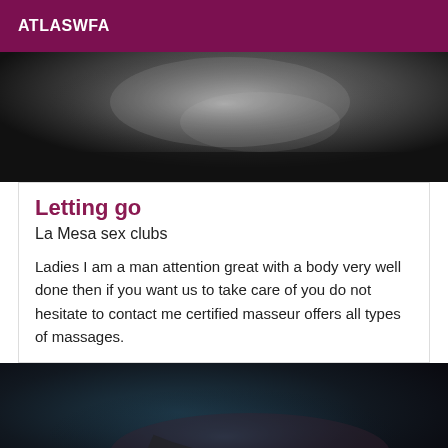ATLASWFA
[Figure (photo): Black and white artistic photo showing a human body, cropped, with dramatic lighting.]
Letting go
La Mesa sex clubs
Ladies I am a man attention great with a body very well done then if you want us to take care of you do not hesitate to contact me certified masseur offers all types of massages.
[Figure (photo): Dark, dimly lit photo with teal and dark tones, partially visible figure.]